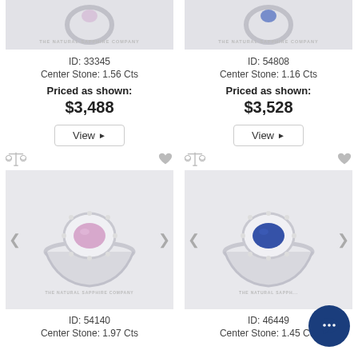[Figure (photo): Ring with sapphire center stone shown against light background, watermark reads THE NATURAL SAPPHIRE COMPANY]
ID: 33345
Center Stone: 1.56 Cts
Priced as shown:
$3,488
View
[Figure (photo): Ring with blue sapphire center stone shown against light background, watermark reads THE NATURAL SAPPHIRE COMPANY]
ID: 54808
Center Stone: 1.16 Cts
Priced as shown:
$3,528
View
[Figure (photo): Ring with pink sapphire oval center stone surrounded by diamond halo on white gold band, watermark reads THE NATURAL SAPPHIRE COMPANY]
ID: 54140
Center Stone: 1.97 Cts
[Figure (photo): Ring with blue sapphire oval center stone surrounded by diamond halo on white gold band, watermark reads THE NATURAL SAPPHIRE COMPANY]
ID: 46449
Center Stone: 1.45 Cts